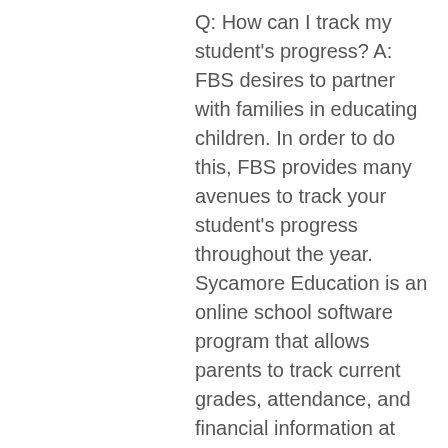Q: How can I track my student's progress? A: FBS desires to partner with families in educating children. In order to do this, FBS provides many avenues to track your student's progress throughout the year. Sycamore Education is an online school software program that allows parents to track current grades, attendance, and financial information at any time from the convenience of any computer connected to the internet. Parents can send notes to the teacher through this site and can stay informed with news and activities going on at the school through the news and